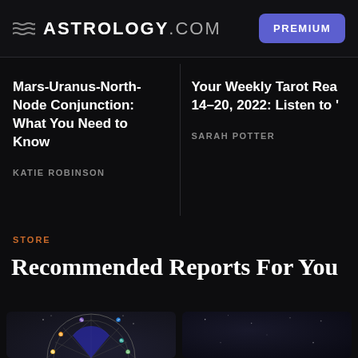ASTROLOGY.COM | PREMIUM
Mars-Uranus-North-Node Conjunction: What You Need to Know
KATIE ROBINSON
Your Weekly Tarot Rea 14–20, 2022: Listen to '
SARAH POTTER
STORE
Recommended Reports For You
[Figure (illustration): Astrology birth chart illustration with zodiac wheel segments]
[Figure (illustration): Dark space/starfield background image for second product card]